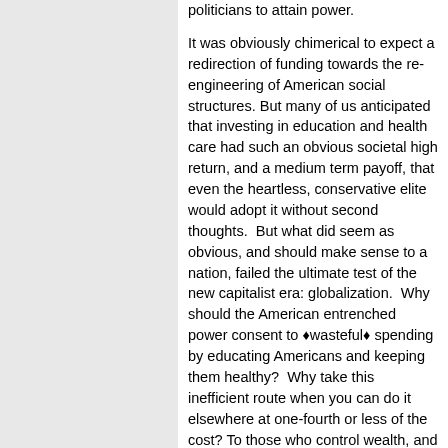politicians to attain power.

It was obviously chimerical to expect a redirection of funding towards the re-engineering of American social structures. But many of us anticipated that investing in education and health care had such an obvious societal high return, and a medium term payoff, that even the heartless, conservative elite would adopt it without second thoughts. But what did seem as obvious, and should make sense to a nation, failed the ultimate test of the new capitalist era: globalization. Why should the American entrenched power consent to ‘wasteful’ spending by educating Americans and keeping them healthy? Why take this inefficient route when you can do it elsewhere at one-fourth or less of the cost? To those who control wealth, and thus power, the world is their community, their village; nations, or rather the people who inhabit those nations, don’t count. To them, any peace dividend to be efficient and effective must be solely in the form of tax cuts benefiting the wealthy. Let the marketplace perform its own magic allowing capitalist selectivity to evolve in the survival of the strongest productive species . . . which to them translates into greater profits.

So we ended up without a peace dividend